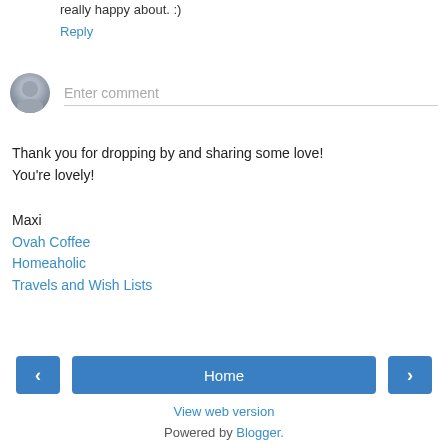really happy about. :)
Reply
[Figure (other): User avatar placeholder (gray silhouette circle) next to an 'Enter comment' input field with a bottom border]
Thank you for dropping by and sharing some love!
You're lovely!
Maxi
Ovah Coffee
Homeaholic
Travels and Wish Lists
‹  Home  ›
View web version
Powered by Blogger.